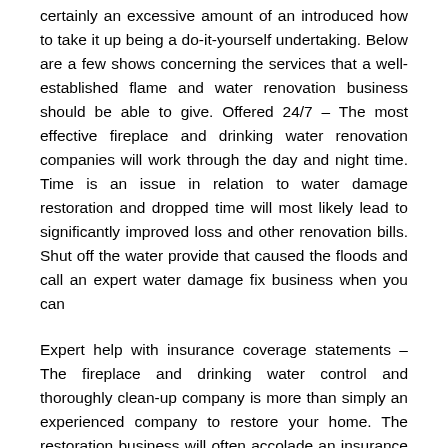certainly an excessive amount of an introduced how to take it up being a do-it-yourself undertaking. Below are a few shows concerning the services that a well-established flame and water renovation business should be able to give. Offered 24/7 – The most effective fireplace and drinking water renovation companies will work through the day and night time. Time is an issue in relation to water damage restoration and dropped time will most likely lead to significantly improved loss and other renovation bills. Shut off the water provide that caused the floods and call an expert water damage fix business when you can
Expert help with insurance coverage statements – The fireplace and drinking water control and thoroughly clean-up company is more than simply an experienced company to restore your home. The restoration business will often accolade an insurance coverage expert who will help you using the insurance coverage boasts on the insurance...